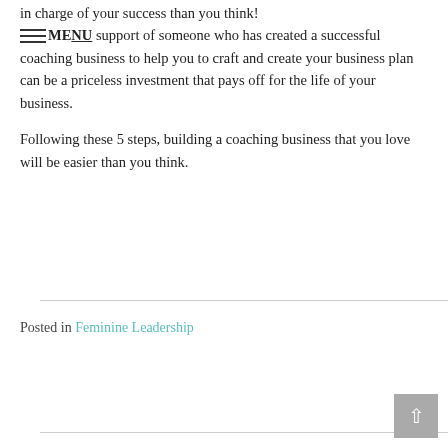in charge of your success than you think! Having the support of someone who has created a successful coaching business to help you to craft and create your business plan can be a priceless investment that pays off for the life of your business.
Following these 5 steps, building a coaching business that you love will be easier than you think.
Posted in Feminine Leadership